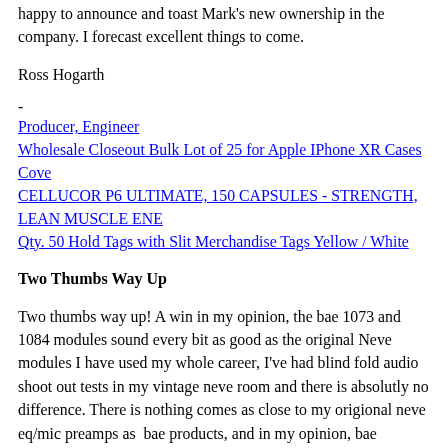happy to announce and toast Mark's new ownership in the company. I forecast excellent things to come.
Ross Hogarth
-
Producer, Engineer
Wholesale Closeout Bulk Lot of 25 for Apple IPhone XR Cases Cove
CELLUCOR P6 ULTIMATE, 150 CAPSULES - STRENGTH, LEAN MUSCLE ENE
Qty. 50 Hold Tags with Slit Merchandise Tags Yellow / White
Two Thumbs Way Up
Two thumbs way up! A win in my opinion, the bae 1073 and 1084 modules sound every bit as good as the original Neve modules I have used my whole career, I've had blind fold audio shoot out tests in my vintage neve room and there is absolutly no difference. There is nothing comes as close to my origional neve eq/mic preamps as  bae products, and in my opinion, bae products surpass all the competition in build quality. From the point to point wiring, to the audio  traces on their cards, original St Ives (Carnhill) transformers, nickel plating, impeccable craftsmanship and wow! No old dirty switches and pots. Did I mention they